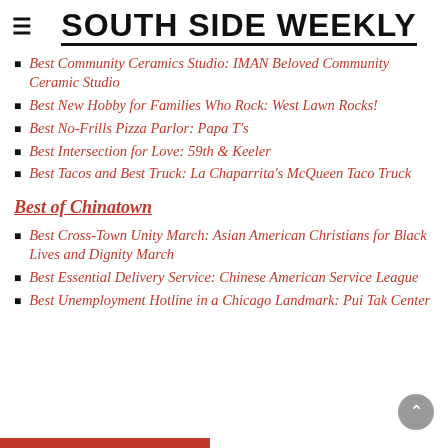SOUTH SIDE WEEKLY
Best Community Ceramics Studio: IMAN Beloved Community Ceramic Studio
Best New Hobby for Families Who Rock: West Lawn Rocks!
Best No-Frills Pizza Parlor: Papa T's
Best Intersection for Love: 59th & Keeler
Best Tacos and Best Truck: La Chaparrita's McQueen Taco Truck
Best of Chinatown
Best Cross-Town Unity March: Asian American Christians for Black Lives and Dignity March
Best Essential Delivery Service: Chinese American Service League
Best Unemployment Hotline in a Chicago Landmark: Pui Tak Center